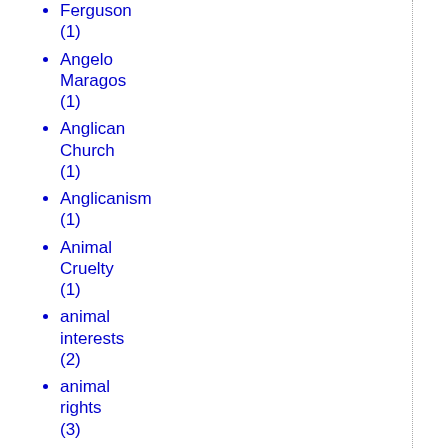Ferguson (1)
Angelo Maragos (1)
Anglican Church (1)
Anglicanism (1)
Animal Cruelty (1)
animal interests (2)
animal rights (3)
Anniversary (1)
Anniversary; conservatism (1)
anti-